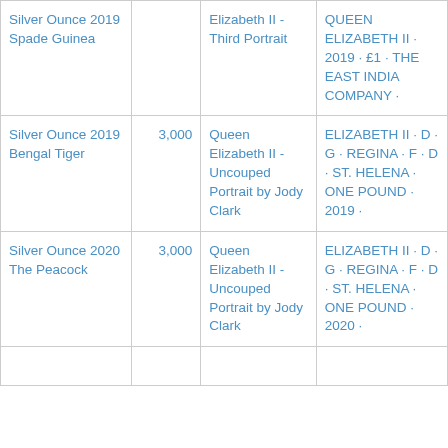| Name | Mintage | Obverse | Legend |
| --- | --- | --- | --- |
| Silver Ounce 2019 Spade Guinea |  | Elizabeth II - Third Portrait | QUEEN ELIZABETH II · 2019 · £1 · THE EAST INDIA COMPANY · |
| Silver Ounce 2019 Bengal Tiger | 3,000 | Queen Elizabeth II - Uncouped Portrait by Jody Clark | ELIZABETH II · D · G · REGINA · F · D · ST. HELENA · ONE POUND · 2019 · |
| Silver Ounce 2020 The Peacock | 3,000 | Queen Elizabeth II - Uncouped Portrait by Jody Clark | ELIZABETH II · D · G · REGINA · F · D · ST. HELENA · ONE POUND · 2020 · |